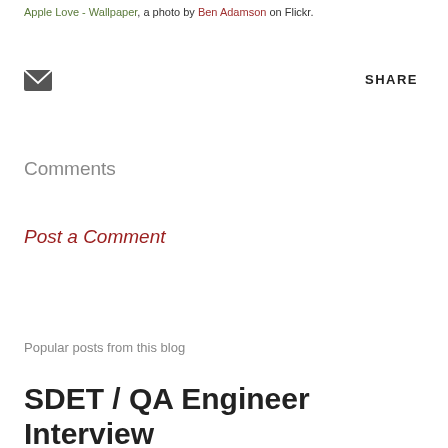Apple Love - Wallpaper, a photo by Ben Adamson on Flickr.
[Figure (other): Email/envelope icon]
SHARE
Comments
Post a Comment
Popular posts from this blog
SDET / QA Engineer Interview Checklist